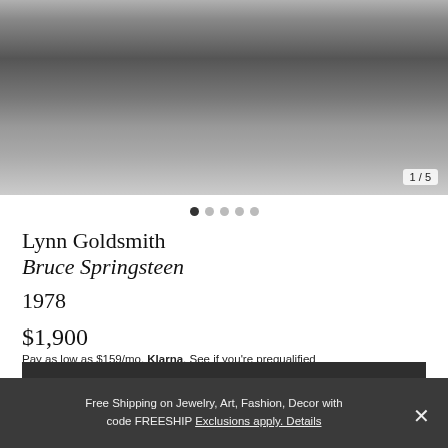[Figure (photo): Black and white photograph showing a person playing guitar, seated near a round table with items on it. Another person partially visible. Slide counter shows 1/5.]
Lynn Goldsmith
Bruce Springsteen
1978
$1,900
Pay as low as $159/mo. Klarna. See if you're prequalified
PURCHASE
Free Shipping on Jewelry, Art, Fashion, Decor with code FREESHIP Exclusions apply. Details